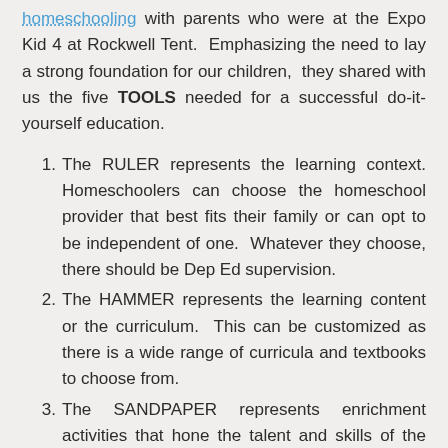homeschooling with parents who were at the Expo Kid 4 at Rockwell Tent. Emphasizing the need to lay a strong foundation for our children, they shared with us the five TOOLS needed for a successful do-it-yourself education.
The RULER represents the learning context. Homeschoolers can choose the homeschool provider that best fits their family or can opt to be independent of one. Whatever they choose, there should be Dep Ed supervision.
The HAMMER represents the learning content or the curriculum. This can be customized as there is a wide range of curricula and textbooks to choose from.
The SANDPAPER represents enrichment activities that hone the talent and skills of the homeschooler. Homeschoolers can enrol their